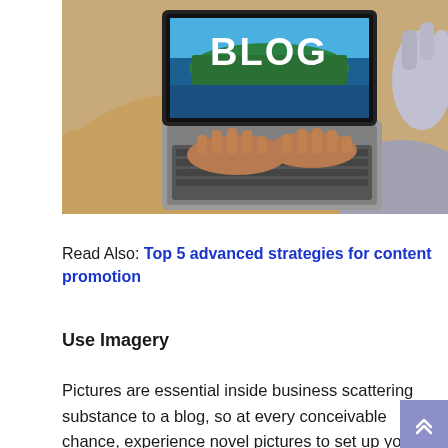[Figure (photo): Overhead view of a person typing on a laptop. The laptop screen displays the word 'BLOG' in large white text over an aerial city/harbor image. The person is wearing a beige/tan sweater. Another person's arm is visible on the right. The desk surface is light wood.]
Read Also: Top 5 advanced strategies for content promotion
Use Imagery
Pictures are essential inside business scattering substance to a blog, so at every conceivable chance, experience novel pictures to set up your dispersing